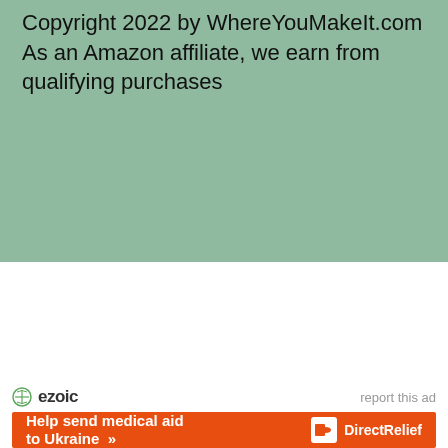Copyright 2022 by WhereYouMakeIt.com
As an Amazon affiliate, we earn from qualifying purchases
[Figure (other): Ezoic logo with circular icon and bold 'ezoic' text, alongside 'report this ad' link]
[Figure (other): Orange advertisement banner: 'Help send medical aid to Ukraine >>' with Direct Relief logo on the right]